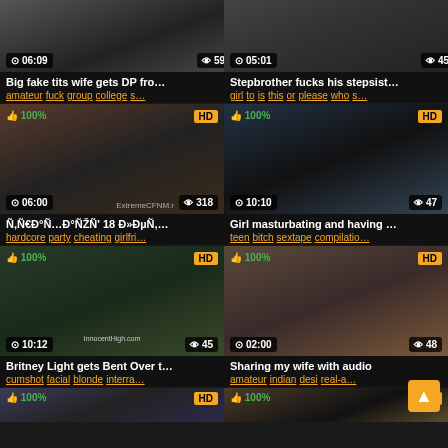[Figure (screenshot): Video thumbnail grid showing adult video website with 6 video cards in 2-column layout plus partial bottom row]
Big fake tits wife gets DP fro…
amateur fuck group college s…
Stepbrother fucks his stepsist…
girl to is this or please who s…
Ñ,Ñ€Ð°Ñ…Ð°ÑŽÑ' 18 Ð»ÐµÑ, …
hardcore party cheating girlfri…
Girl masturbating and having …
teen bitch sextape compilatio…
Britney Light gets Bent Over t…
cumshot facial blonde interra…
Sharing my wife with audio
amateur indian desi real-a…